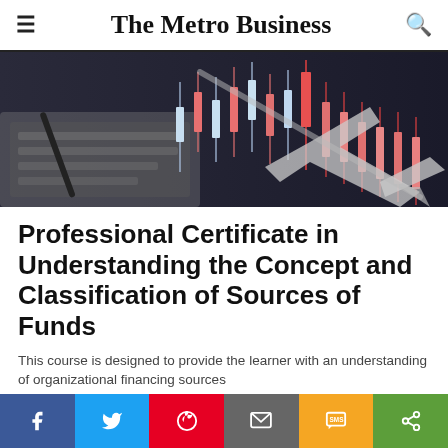The Metro Business
[Figure (photo): Stock market candlestick chart with downward arrow overlaid on laptop keyboard background, showing red and white candlestick bars with declining trend arrow]
Professional Certificate in Understanding the Concept and Classification of Sources of Funds
This course is designed to provide the learner with an understanding of organizational financing sources